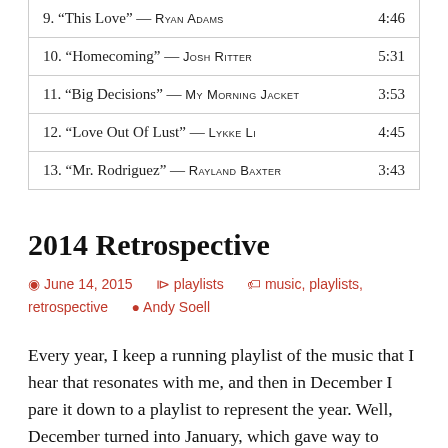| 9. “This Love” — RYAN ADAMS | 4:46 |
| 10. “Homecoming” — JOSH RITTER | 5:31 |
| 11. “Big Decisions” — MY MORNING JACKET | 3:53 |
| 12. “Love Out Of Lust” — LYKKE LI | 4:45 |
| 13. “Mr. Rodriguez” — RAYLAND BAXTER | 3:43 |
2014 Retrospective
June 14, 2015   playlists   music, playlists, retrospective   Andy Soell
Every year, I keep a running playlist of the music that I hear that resonates with me, and then in December I pare it down to a playlist to represent the year. Well, December turned into January, which gave way to spring and now summer. So now, in what I believe may be the last